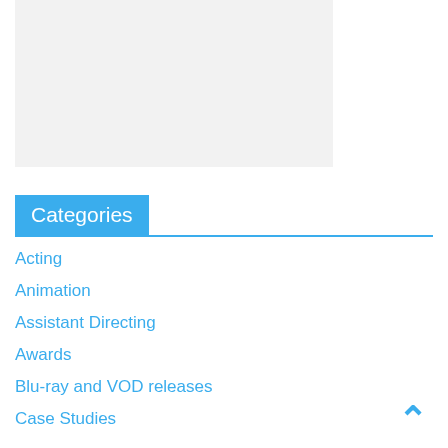[Figure (other): Gray placeholder image box]
Categories
Acting
Animation
Assistant Directing
Awards
Blu-ray and VOD releases
Case Studies